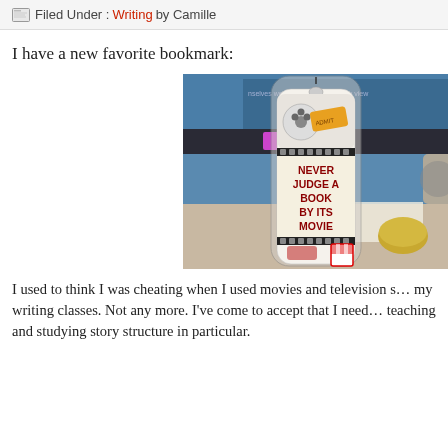Filed Under : Writing by Camille
I have a new favorite bookmark:
[Figure (photo): A bookmark in packaging showing a film reel and popcorn design with text reading 'NEVER JUDGE A BOOK BY ITS MOVIE', displayed on a desk with a computer monitor in the background.]
I used to think I was cheating when I used movies and television s... my writing classes. Not any more. I've come to accept that I need... teaching and studying story structure in particular.